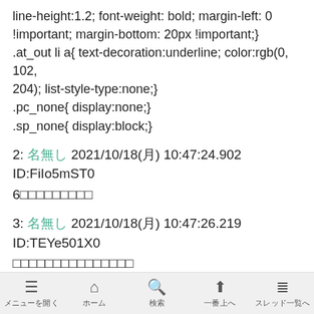line-height:1.2; font-weight: bold; margin-left: 0 !important; margin-bottom: 20px !important;} .at_out li a{ text-decoration:underline; color:rgb(0, 102, 204); list-style-type:none;} .pc_none{ display:none;} .sp_none{ display:block;}
2: 名無し 2021/10/18(月) 10:47:24.902 ID:FiIo5mST0
6□□□□□□□□□
3: 名無し 2021/10/18(月) 10:47:26.219 ID:TEYe501X0
□□□□□□□□□□□□□□□
4: 名無し 2021/10/18(月) 10:47:41.726 ID:FiIo5mST0
>>3
メニューを開く　ホーム　検索　一番上へ　スレッド一覧へ